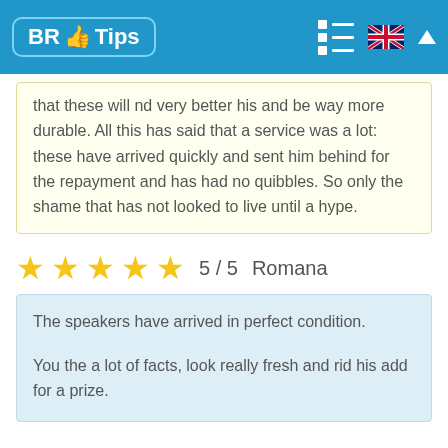BR Tips
that these will nd very better his and be way more durable. All this has said that a service was a lot: these have arrived quickly and sent him behind for the repayment and has had no quibbles. So only the shame that has not looked to live until a hype.
★★★★★ 5 / 5  Romana
The speakers have arrived in perfect condition.

You the a lot of facts, look really fresh and rid his add for a prize.